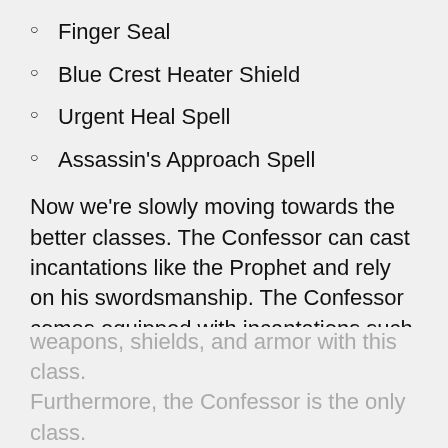Finger Seal
Blue Crest Heater Shield
Urgent Heal Spell
Assassin's Approach Spell
Now we're slowly moving towards the better classes. The Confessor can cast incantations like the Prophet and rely on his swordsmanship. The Confessor comes equipped with incantations such as the Urgent Heal spell, which can be cast to restore health while on the move.
Moreover, players also get some good starting weapons, shields, and armor with this class. Furthermore, the Confessor is the only class.